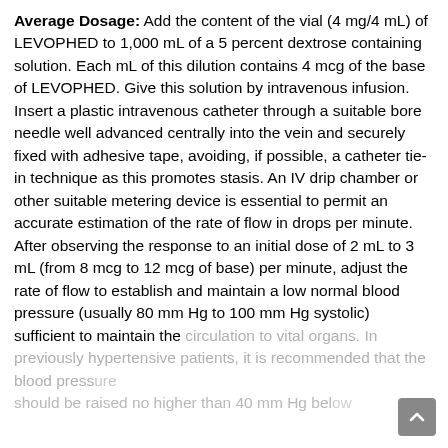Average Dosage: Add the content of the vial (4 mg/4 mL) of LEVOPHED to 1,000 mL of a 5 percent dextrose containing solution. Each mL of this dilution contains 4 mcg of the base of LEVOPHED. Give this solution by intravenous infusion. Insert a plastic intravenous catheter through a suitable bore needle well advanced centrally into the vein and securely fixed with adhesive tape, avoiding, if possible, a catheter tie-in technique as this promotes stasis. An IV drip chamber or other suitable metering device is essential to permit an accurate estimation of the rate of flow in drops per minute. After observing the response to an initial dose of 2 mL to 3 mL (from 8 mcg to 12 mcg of base) per minute, adjust the rate of flow to establish and maintain a low normal blood pressure (usually 80 mm Hg to 100 mm Hg systolic) sufficient to maintain the circulation to vital organs. In previously hypertensive patients, it is recommended that the blood pressure should be raised no higher than 40 mm Hg below the...